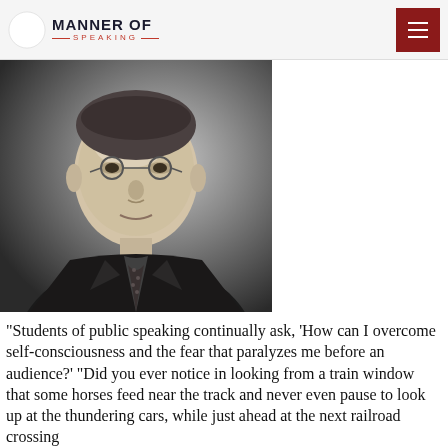MANNER OF SPEAKING
[Figure (photo): Black and white portrait photograph of a man in a dark suit and tie, wearing glasses, looking slightly to the side with a neutral expression.]
“Students of public speaking continually ask, ‘How can I overcome self-consciousness and the fear that paralyzes me before an audience?’ “Did you ever notice in looking from a train window that some horses feed near the track and never even pause to look up at the thundering cars, while just ahead at the next railroad crossing